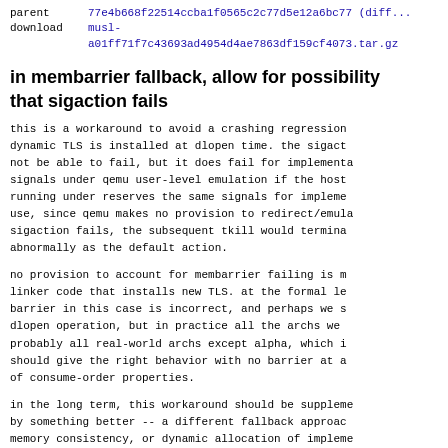parent    77e4b668f22514ccba1f0565c2c77d5e12a6bc77 (diff)
download  musl-a01ff71f7c43693ad4954d4ae7863df159cf4073.tar.gz
in membarrier fallback, allow for possibility that sigaction fails
this is a workaround to avoid a crashing regression when dynamic TLS is installed at dlopen time. the sigact... not be able to fail, but it does fail for implement. signals under qemu user-level emulation if the host running under reserves the same signals for impleme... use, since qemu makes no provision to redirect/emul... sigaction fails, the subsequent tkill would termina... abnormally as the default action.
no provision to account for membarrier failing is m... linker code that installs new TLS. at the formal le... barrier in this case is incorrect, and perhaps we s... dlopen operation, but in practice all the archs we probably all real-world archs except alpha, which i... should give the right behavior with no barrier at a... of consume-order properties.
in the long term, this workaround should be suppleme... by something better -- a different fallback approac... memory consistency, or dynamic allocation of impleme... signals. the latter is appealing in that it would a... to work under qemu-user too, and would even allow m... nested emulation.